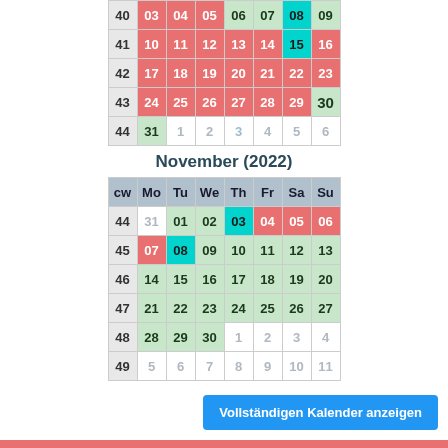| cw | Mo | Tu | We | Th | Fr | Sa | Su |
| --- | --- | --- | --- | --- | --- | --- | --- |
| 40 | 03 | 04 | 05 | 06 | 07 | 08 | 09 |
| 41 | 10 | 11 | 12 | 13 | 14 | 15 | 16 |
| 42 | 17 | 18 | 19 | 20 | 21 | 22 | 23 |
| 43 | 24 | 25 | 26 | 27 | 28 | 29 | 30 |
| 44 | 31 | 1 | 2 | 3 | 4 | 5 | 6 |
November (2022)
| cw | Mo | Tu | We | Th | Fr | Sa | Su |
| --- | --- | --- | --- | --- | --- | --- | --- |
| 44 | 31 | 01 | 02 | 03 | 04 | 05 | 06 |
| 45 | 07 | 08 | 09 | 10 | 11 | 12 | 13 |
| 46 | 14 | 15 | 16 | 17 | 18 | 19 | 20 |
| 47 | 21 | 22 | 23 | 24 | 25 | 26 | 27 |
| 48 | 28 | 29 | 30 | 1 | 2 | 3 | 4 |
| 49 | 5 | 6 | 7 | 8 | 9 | 10 | 11 |
Vollständigen Kalender anzeigen